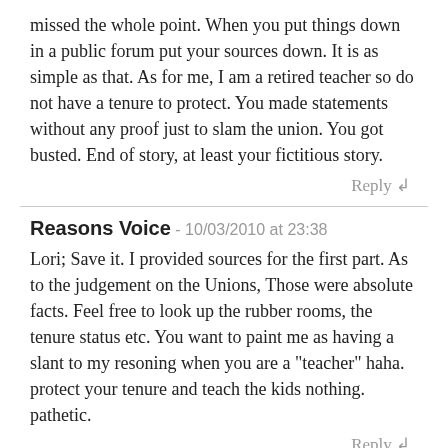missed the whole point. When you put things down in a public forum put your sources down. It is as simple as that. As for me, I am a retired teacher so do not have a tenure to protect. You made statements without any proof just to slam the union. You got busted. End of story, at least your fictitious story.
Reply ↲
Reasons Voice - 10/03/2010 at 23:38
Lori; Save it. I provided sources for the first part. As to the judgement on the Unions, Those were absolute facts. Feel free to look up the rubber rooms, the tenure status etc. You want to paint me as having a slant to my resoning when you are a "teacher" haha. protect your tenure and teach the kids nothing. pathetic.
Reply ↲
Just - 10/02/2010 at 16:59